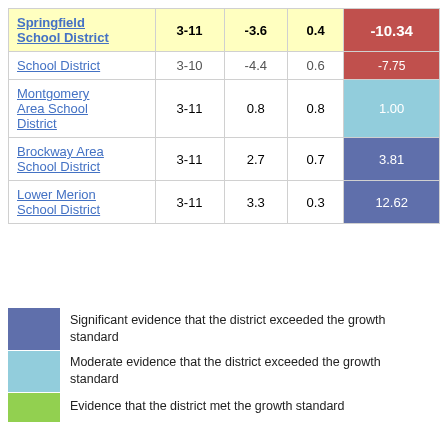| District | Grades | Col3 | Col4 | Score |
| --- | --- | --- | --- | --- |
| Springfield School District | 3-11 | -3.6 | 0.4 | -10.34 |
| School District | 3-10 | -4.4 | 0.6 | -7.75 |
| Montgomery Area School District | 3-11 | 0.8 | 0.8 | 1.00 |
| Brockway Area School District | 3-11 | 2.7 | 0.7 | 3.81 |
| Lower Merion School District | 3-11 | 3.3 | 0.3 | 12.62 |
Significant evidence that the district exceeded the growth standard
Moderate evidence that the district exceeded the growth standard
Evidence that the district met the growth standard